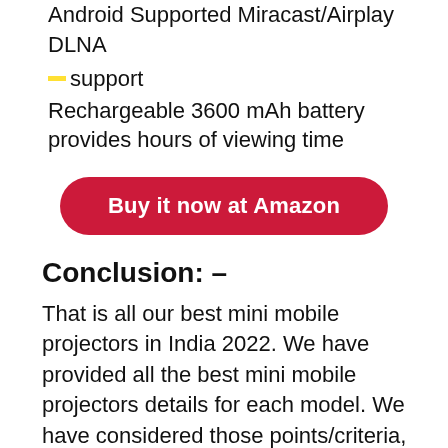Android Supported Miracast/Airplay DLNA support
Rechargeable 3600 mAh battery provides hours of viewing time
Buy it now at Amazon
Conclusion: –
That is all our best mini mobile projectors in India 2022. We have provided all the best mini mobile projectors details for each model. We have considered those points/criteria, user feedback and the price tag of the best mini mobile projector to prepare this list. There are different ranges of mini portable projector